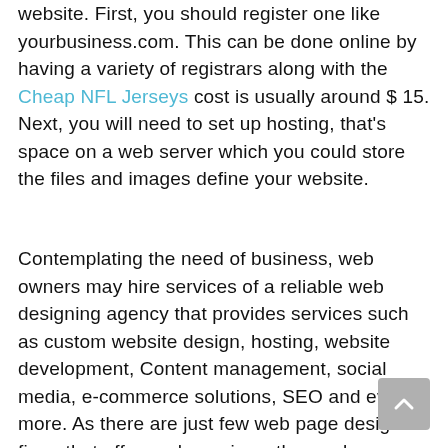website. First, you should register one like yourbusiness.com. This can be done online by having a variety of registrars along with the Cheap NFL Jerseys cost is usually around $ 15. Next, you will need to set up hosting, that's space on a web server which you could store the files and images define your website.
Contemplating the need of business, web owners may hire services of a reliable web designing agency that provides services such as custom website design, hosting, website development, Content management, social media, e-commerce solutions, SEO and even more. As there are just few web page design firms that offer such services, thus web owners need to ensure they bring in help having good knowledge and experience with this field.